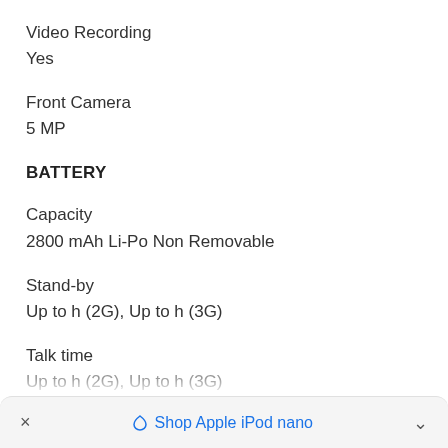Video Recording
Yes
Front Camera
5 MP
BATTERY
Capacity
2800 mAh Li-Po Non Removable
Stand-by
Up to h (2G), Up to h (3G)
Talk time
Up to h (2G), Up to h (3G)
× ♡ Shop Apple iPod nano ^